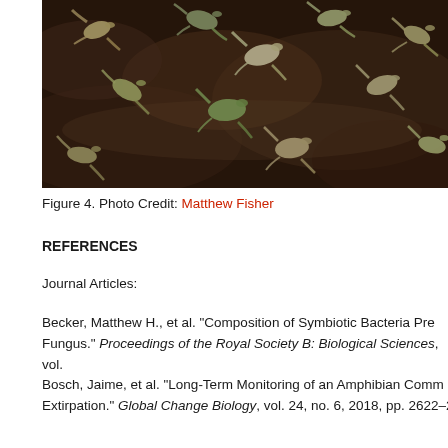[Figure (photo): Photograph showing numerous dead frogs lying on a dark wet rock surface, apparently killed by chytrid fungus disease.]
Figure 4. Photo Credit: Matthew Fisher
REFERENCES
Journal Articles:
Becker, Matthew H., et al. "Composition of Symbiotic Bacteria Pre Fungus." Proceedings of the Royal Society B: Biological Sciences, vol.
Bosch, Jaime, et al. "Long-Term Monitoring of an Amphibian Comm Extirpation." Global Change Biology, vol. 24, no. 6, 2018, pp. 2622–2